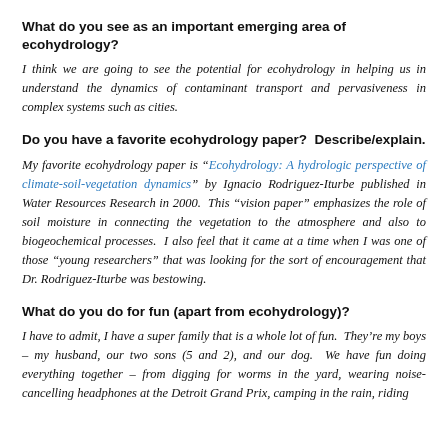What do you see as an important emerging area of ecohydrology?
I think we are going to see the potential for ecohydrology in helping us in understand the dynamics of contaminant transport and pervasiveness in complex systems such as cities.
Do you have a favorite ecohydrology paper?  Describe/explain.
My favorite ecohydrology paper is “Ecohydrology: A hydrologic perspective of climate-soil-vegetation dynamics” by Ignacio Rodriguez-Iturbe published in Water Resources Research in 2000.  This “vision paper” emphasizes the role of soil moisture in connecting the vegetation to the atmosphere and also to biogeochemical processes.  I also feel that it came at a time when I was one of those “young researchers” that was looking for the sort of encouragement that Dr. Rodriguez-Iturbe was bestowing.
What do you do for fun (apart from ecohydrology)?
I have to admit, I have a super family that is a whole lot of fun.  They’re my boys – my husband, our two sons (5 and 2), and our dog.  We have fun doing everything together – from digging for worms in the yard, wearing noise-cancelling headphones at the Detroit Grand Prix, camping in the rain, riding...